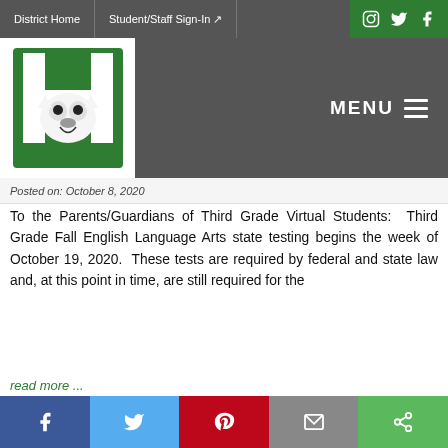District Home | Student/Staff Sign-In
[Figure (logo): Hillside school logo with green H letter and wildcat mascot]
Posted on: October 8, 2020
To the Parents/Guardians of Third Grade Virtual Students: Third Grade Fall English Language Arts state testing begins the week of October 19, 2020.  These tests are required by federal and state law and, at this point in time, are still required for the
read more ...
[Figure (illustration): Black line drawing/illustration of a race track or course outline]
Social share bar: Facebook, Twitter, Pinterest, Email, Share